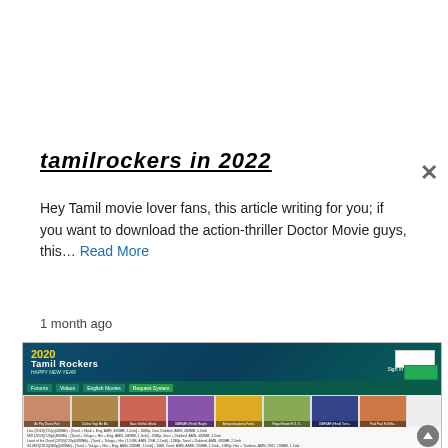tamilrockers in 2022
Hey Tamil movie lover fans, this article writing for you; if you want to download the action-thriller Doctor Movie guys, this… Read More
1 month ago
[Figure (screenshot): Screenshot of Tamilrockers website showing header with 2020 logo, navigation bar, movie thumbnails row, and content listing rows with movie download links in small text]